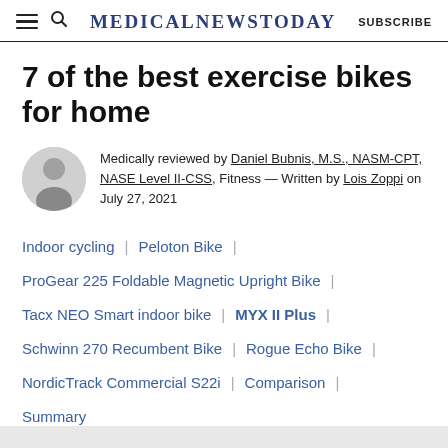MedicalNewsToday | SUBSCRIBE
7 of the best exercise bikes for home
Medically reviewed by Daniel Bubnis, M.S., NASM-CPT, NASE Level II-CSS, Fitness — Written by Lois Zoppi on July 27, 2021
Indoor cycling
Peloton Bike
ProGear 225 Foldable Magnetic Upright Bike
Tacx NEO Smart indoor bike
MYX II Plus
Schwinn 270 Recumbent Bike
Rogue Echo Bike
NordicTrack Commercial S22i
Comparison
Summary